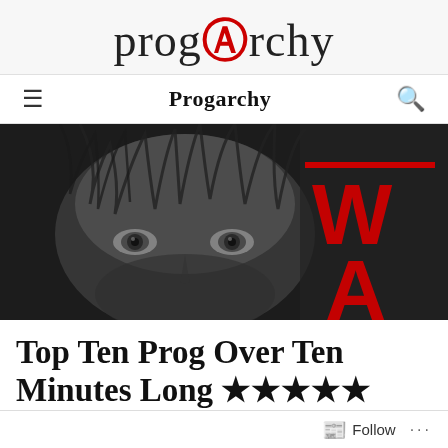progarchy
Progarchy
[Figure (photo): Black and white close-up photo of a person's face (eyes and forehead visible), with a large red stylized 'WA' text/logo overlaid on the right side]
Top Ten Prog Over Ten Minutes Long ★★★★★